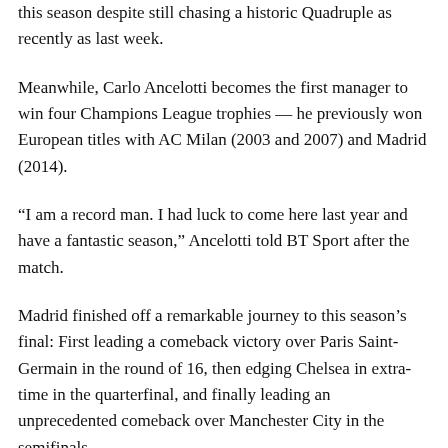this season despite still chasing a historic Quadruple as recently as last week.
Meanwhile, Carlo Ancelotti becomes the first manager to win four Champions League trophies — he previously won European titles with AC Milan (2003 and 2007) and Madrid (2014).
“I am a record man. I had luck to come here last year and have a fantastic season,” Ancelotti told BT Sport after the match.
Madrid finished off a remarkable journey to this season’s final: First leading a comeback victory over Paris Saint-Germain in the round of 16, then edging Chelsea in extra-time in the quarterfinal, and finally leading an unprecedented comeback over Manchester City in the semifinals.
The Spanish giants have completed a double, having clinched